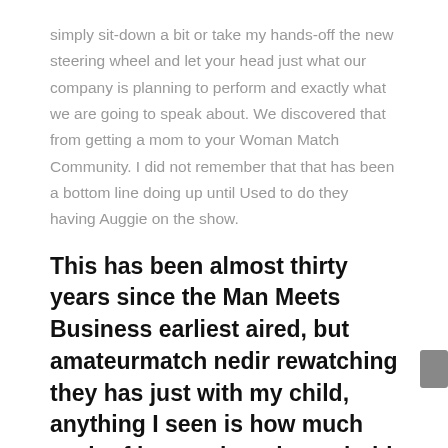simply sit-down a bit or take my hands-off the new steering wheel and let your head just what our company is planning to perform and exactly what we are going to speak about. We discovered that from getting a mom to your Woman Match Community. I did not remember that that has been a bottom line doing up until Used to do they having Auggie on the show.
This has been almost thirty years since the Man Meets Business earliest aired, but amateurmatch nedir rewatching they has just with my child, anything I seen is how much cash of it was about household members. Just what do you learn about parenting on the let you know plus the sequel, Lady Meets World?
I discovered really regarding men on the let you know. Rider